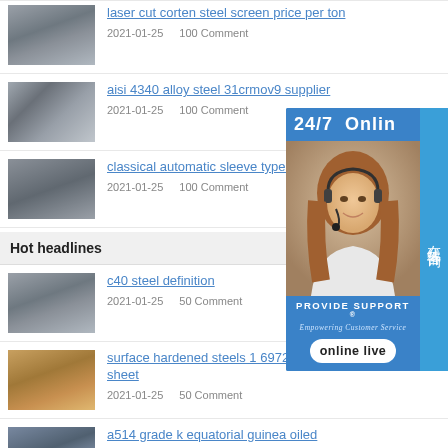laser cut corten steel screen price per ton
2021-01-25   100 Comment
aisi 4340 alloy steel 31crmov9 supplier
2021-01-25   100 Comment
classical automatic sleeve type e
2021-01-25   100 Comment
[Figure (photo): Online customer service advertisement with 24/7 support, woman with headset, Chinese text 在线咨询, PROVIDE SUPPORT Empowering Customer Service, online live button]
Hot headlines
c40 steel definition
2021-01-25   50 Comment
surface hardened steels 1 6972 83ni1 rod bar pipe tube sheet
2021-01-25   50 Comment
a514 grade k equatorial guinea oiled
2021-01-25   50 Comment